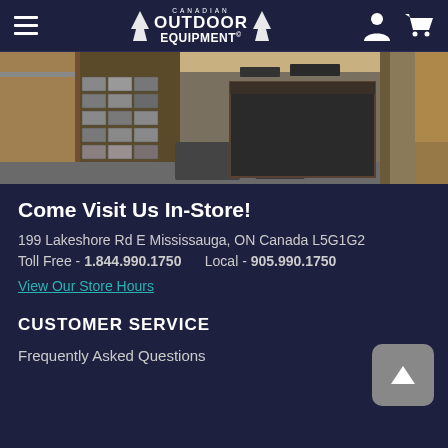Canadian Outdoor Equipment
[Figure (photo): Interior of Canadian Outdoor Equipment retail store showing shelving units with merchandise, a dark wooden counter/checkout area, and display racks.]
Come Visit Us In-Store!
199 Lakeshore Rd E Mississauga, ON Canada L5G1G2
Toll Free - 1.844.990.1750     Local - 905.990.1750
View Our Store Hours
CUSTOMER SERVICE
Frequently Asked Questions